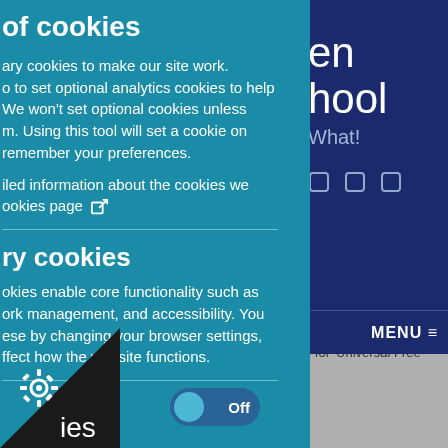of cookies
ary cookies to make our site work. o to set optional analytics cookies to help. We won't set optional cookies unless m. Using this tool will set a cookie on remember your preferences.
iled information about the cookies we ookies page
ry cookies
okies enable core functionality such as ork management, and accessibility. You ese by changing your browser settings, ffect how the website functions.
en hool
What!
MENU
hartwells.
e for 'Universal Free